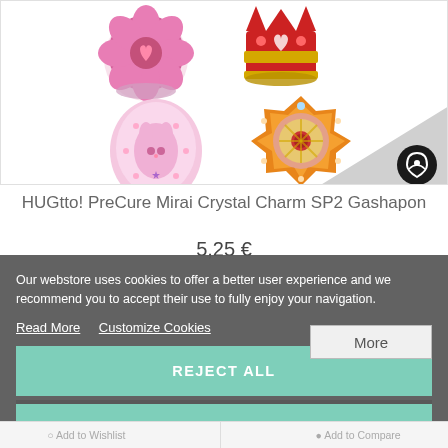[Figure (photo): Product image showing HUGtto! PreCure Mirai Crystal Charm SP2 Gashapon items - four decorative charms in pink, red/gold, pink egg shape, and orange/gold ornate designs, with a Bandai logo watermark in the bottom right corner]
HUGtto! PreCure Mirai Crystal Charm SP2 Gashapon
5,25 €
Our webstore uses cookies to offer a better user experience and we recommend you to accept their use to fully enjoy your navigation.
Read More   Customize Cookies
REJECT ALL
I ACCEPT
Add to Wishlist   Add to Compare